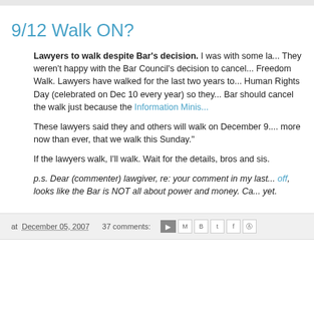9/12 Walk ON?
Lawyers to walk despite Bar's decision. I was with some la... They weren't happy with the Bar Council's decision to cancel... Freedom Walk. Lawyers have walked for the last two years to... Human Rights Day (celebrated on Dec 10 every year) so they... Bar should cancel the walk just because the Information Minis...
These lawyers said they and others will walk on December 9.... more now than ever, that we walk this Sunday."
If the lawyers walk, I'll walk. Wait for the details, bros and sis.
p.s. Dear (commenter) lawgiver, re: your comment in my last... off, looks like the Bar is NOT all about power and money. Ca... yet.
at December 05, 2007   37 comments: